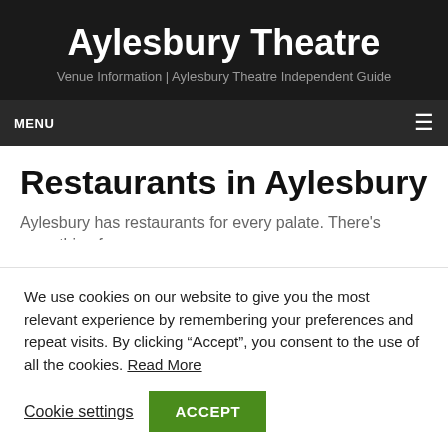Aylesbury Theatre
Venue Information | Aylesbury Theatre Independent Guide
MENU
Restaurants in Aylesbury
Aylesbury has restaurants for every palate. There's everything from
We use cookies on our website to give you the most relevant experience by remembering your preferences and repeat visits. By clicking “Accept”, you consent to the use of all the cookies. Read More
Cookie settings
ACCEPT